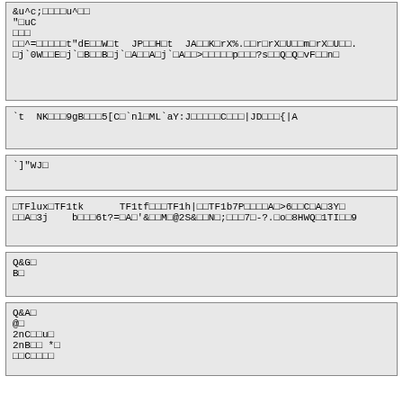&u^c;□□□□u^□□
"□uC
□□□
□□^=□□□□□t"dE□□W□t JP□□H□t JA□□K□rX%.□□r□rX□U□□m□rX□U□□.
□j`0W□□E□j`□B□□B□j`□A□□A□j`□A□□>□□□□□p□□□?s□□Q□Q□vF□□n□
`t NK□□□9gB□□□5[C□`nl□ML`aY:J□□□□□C□□□|JD□□□{|A
`]"WJ□
□TFlux□TF1tk      TF1tf□□□TF1h|□□TF1b7P□□□□A□>6□□C□A□3Y□
□□A□3j   b□□□6t?=□A□'&□□M□@2S&□□N□;□□□7□-?.□o□8HWQ□1TI□□9
Q&G□
B□
Q&A□
@□
2nC□□u□
2nB□□ *□
□□C□□□□